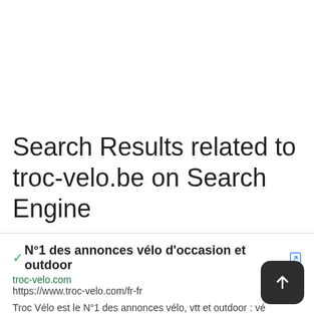Search Results related to troc-velo.be on Search Engine
✓N°1 des annonces vélo d'occasion et outdoor 🔗
troc-velo.com
https://www.troc-velo.com/fr-fr
Troc Vélo est le N°1 des annonces vélo, vtt et outdoor : vé... occasion, vtt occasion, et accessoires vélo, toutes pièces tentes, sacs de couchages, matériel de randonnées occasions et